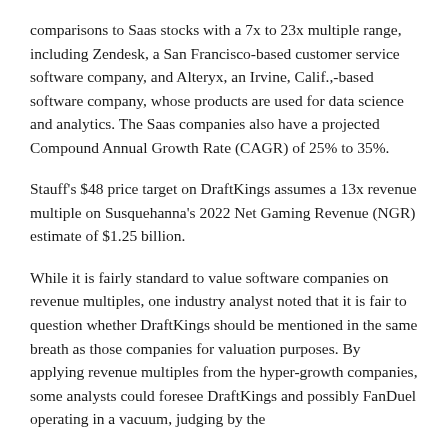comparisons to Saas stocks with a 7x to 23x multiple range, including Zendesk, a San Francisco-based customer service software company, and Alteryx, an Irvine, Calif.,-based software company, whose products are used for data science and analytics. The Saas companies also have a projected Compound Annual Growth Rate (CAGR) of 25% to 35%.
Stauff's $48 price target on DraftKings assumes a 13x revenue multiple on Susquehanna's 2022 Net Gaming Revenue (NGR) estimate of $1.25 billion.
While it is fairly standard to value software companies on revenue multiples, one industry analyst noted that it is fair to question whether DraftKings should be mentioned in the same breath as those companies for valuation purposes. By applying revenue multiples from the hyper-growth companies, some analysts could foresee DraftKings and possibly FanDuel operating in a vacuum, judging by the